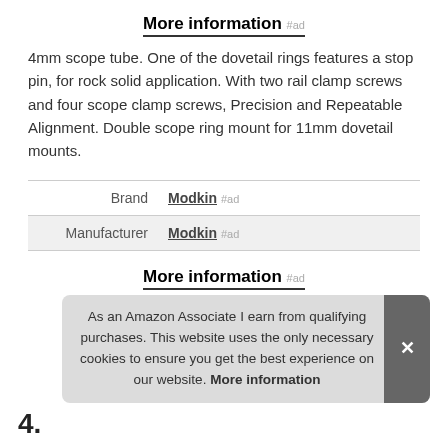More information #ad
4mm scope tube. One of the dovetail rings features a stop pin, for rock solid application. With two rail clamp screws and four scope clamp screws, Precision and Repeatable Alignment. Double scope ring mount for 11mm dovetail mounts.
|  |  |
| --- | --- |
| Brand | Modkin #ad |
| Manufacturer | Modkin #ad |
More information #ad
As an Amazon Associate I earn from qualifying purchases. This website uses the only necessary cookies to ensure you get the best experience on our website. More information
4.